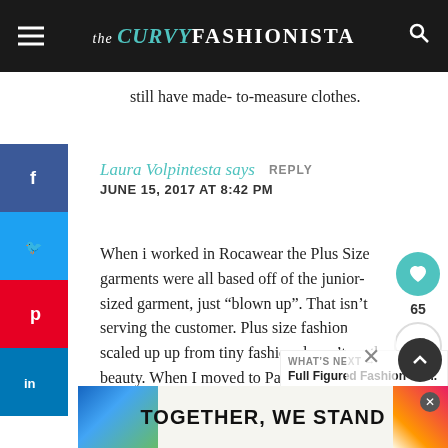the CURVY FASHIONISTA
still have made- to-measure clothes.
Laura Volpintesta says  REPLY
JUNE 15, 2017 AT 8:42 PM
When i worked in Rocawear the Plus Size garments were all based off of the junior-sized garment, just “blown up”. That isn’t serving the customer. Plus size fashion scaled up up from tiny fashion doesn’t on the beauty. When I moved to Paris in th
[Figure (screenshot): Ad banner at bottom reading TOGETHER, WE STAND with colorful background]
WHAT’S NEXT → Full Figured Fashion We...